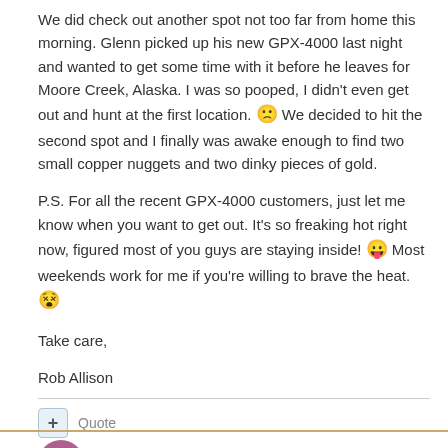We did check out another spot not too far from home this morning. Glenn picked up his new GPX-4000 last night and wanted to get some time with it before he leaves for Moore Creek, Alaska. I was so pooped, I didn't even get out and hunt at the first location. 🙁 We decided to hit the second spot and I finally was awake enough to find two small copper nuggets and two dinky pieces of gold.
P.S. For all the recent GPX-4000 customers, just let me know when you want to get out. It's so freaking hot right now, figured most of you guys are staying inside! 😛 Most weekends work for me if you're willing to brave the heat. 😵
Take care,

Rob Allison
[Figure (other): Quote button with + icon and 'Quote' label]
DrKillstick